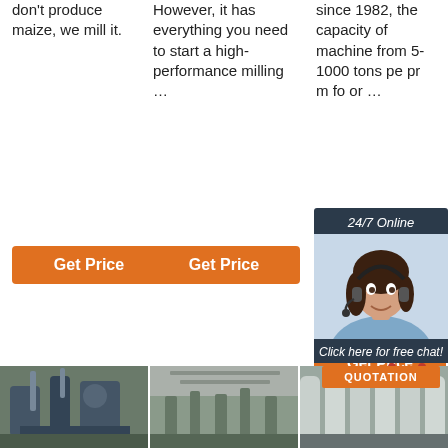don't produce maize, we mill it.
[Figure (other): Orange 'Get Price' button in column 1]
However, it has everything you need to start a high-performance milling …
[Figure (other): Orange 'Get Price' button in column 2]
since 1982, the capacity of machine from 5-1000 tons pe pr m fo or …
[Figure (other): 24/7 Online chat popup with woman wearing headset, 'Click here for free chat!' text, QUOTATION button]
[Figure (other): Orange 'Get Price' button in column 3 with TOP logo above]
[Figure (photo): Three photos of industrial milling/grain processing factory equipment at bottom of page]